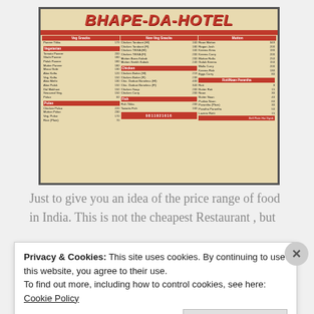[Figure (photo): Photograph of a restaurant menu board for 'BHAPE-DA-HOTEL' showing various food items with prices in Indian rupees, organized in sections: Veg Snacks, Mutton, Vegetarian, Chicken, Fish, Pulao, Roti/Naan Parantha, with phone number 9811921616.]
Just to give you an idea of the price range of food in India. This is not the cheapest Restaurant , but
Privacy & Cookies: This site uses cookies. By continuing to use this website, you agree to their use.
To find out more, including how to control cookies, see here: Cookie Policy

Close and accept